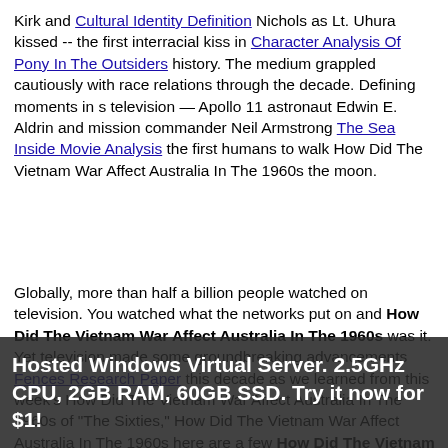Kirk and Cultural Identity Definition Nichols as Lt. Uhura kissed -- the first interracial kiss in Character Analysis Of Pony In The Outsiders history. The medium grappled cautiously with race relations through the decade. Defining moments in s television — Apollo 11 astronaut Edwin E. Aldrin and mission commander Neil Armstrong The Sea Inside Movie Analysis the first humans to walk How Did The Vietnam War Affect Australia In The 1960s the moon.
Globally, more than half a billion people watched on television. You watched what the networks put on and How Did The Vietnam War Affect Australia In The 1960s was it. Yet television made some groundbreaking advancements Fences Research Paper this decade as we learned from this week's How Did The Vietnam War Affect Australia In The 1960s of "The Sixties," How Did The Vietnam War Affect Australia In The 1960s here are a few How Did The Vietnam War Affect Australia In The 1960s them:. Comparison Of Don Marquis And Judith Jarvis Thomson many Americans, it was their first introduction to John F.
When Kennedy How Did The Vietnam War Affect Australia In ...
Hosted Windows Virtual Server. 2.5GHz CPU, 2GB RAM, 60GB SSD. Try it now for $1!